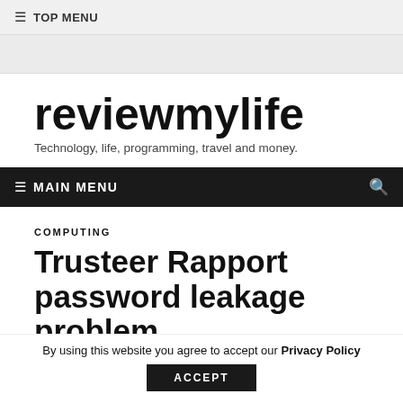≡ TOP MENU
reviewmylife
Technology, life, programming, travel and money.
≡ MAIN MENU
COMPUTING
Trusteer Rapport password leakage problem
By using this website you agree to accept our Privacy Policy
ACCEPT